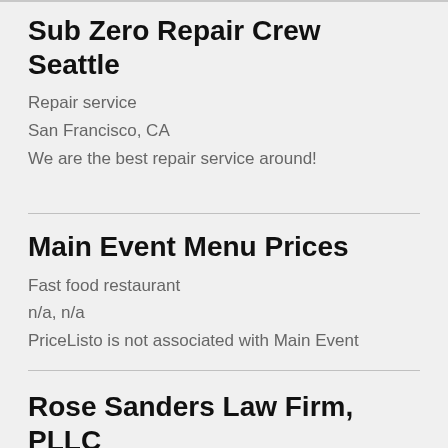Sub Zero Repair Crew Seattle
Repair service
San Francisco, CA
We are the best repair service around!
Main Event Menu Prices
Fast food restaurant
n/a, n/a
PriceListo is not associated with Main Event
Rose Sanders Law Firm, PLLC